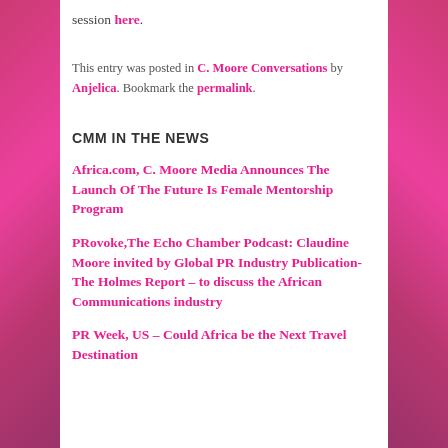session here.
This entry was posted in C. Moore Conversations by Anjelica. Bookmark the permalink.
CMM IN THE NEWS
Africa.com, C. Moore Media Announces The Launch Of The Future Is Female Mentorship Program
PRovoke,The Echo Chamber Podcast: Claudine Moore invited by Global PR Industry Publication-The Holmes Report – to discuss the African Communications industry
PR Week, US – Could Africa be the Next Travel Destination